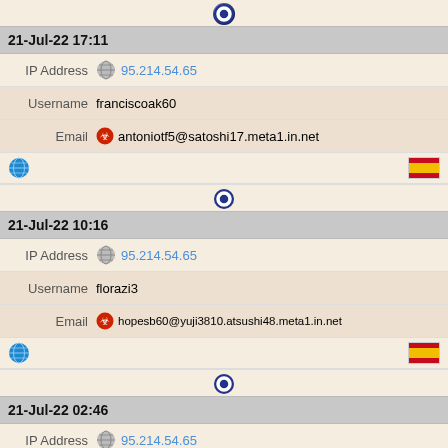[Figure (illustration): VPN/browser icon (dark blue circle with white O shape)]
21-Jul-22 17:11
IP Address 95.214.54.65
Username franciscoak60
Email antoniotf5@satoshi17.meta1.in.net
[Figure (illustration): Globe icon and Spain flag]
[Figure (illustration): VPN/browser icon (dark blue circle with white O shape)]
21-Jul-22 10:16
IP Address 95.214.54.65
Username florazi3
Email hopesb60@yuji3810.atsushi48.meta1.in.net
[Figure (illustration): Globe icon and Spain flag]
[Figure (illustration): VPN/browser icon (dark blue circle with white O shape)]
21-Jul-22 02:46
IP Address 95.214.54.65
Username aolgagoogleta3172
Email aolgagoogleta@yeah.com